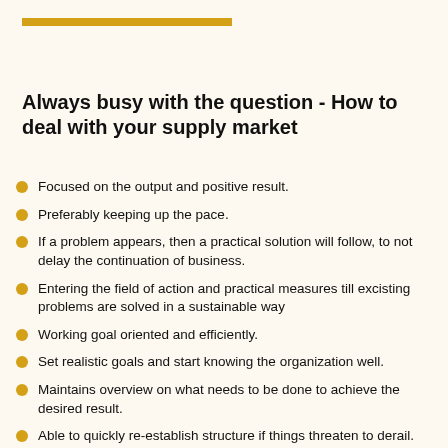Always busy with the question - How to deal with your supply market
Focused on the output and positive result.
Preferably keeping up the pace.
If a problem appears, then a practical solution will follow, to not delay the continuation of business.
Entering the field of action and practical measures till excisting problems are solved in a sustainable way
Working goal oriented and efficiently.
Set realistic goals and start knowing the organization well.
Maintains overview on what needs to be done to achieve the desired result.
Able to quickly re-establish structure if things threaten to derail.
Strives to gain insight and deepen into the content to make sure